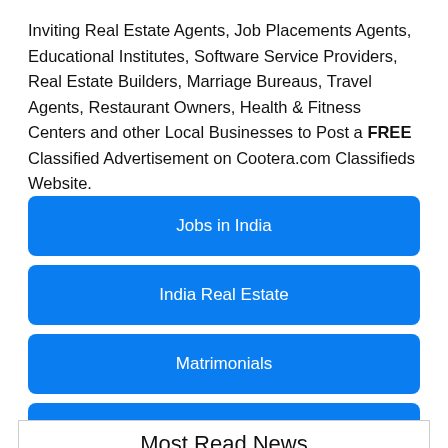Inviting Real Estate Agents, Job Placements Agents, Educational Institutes, Software Service Providers, Real Estate Builders, Marriage Bureaus, Travel Agents, Restaurant Owners, Health & Fitness Centers and other Local Businesses to Post a FREE Classified Advertisement on Cootera.com Classifieds Website.
Jobs in India
India Real Estate
Matrimonials
Beauty & Fitness
Most Read News